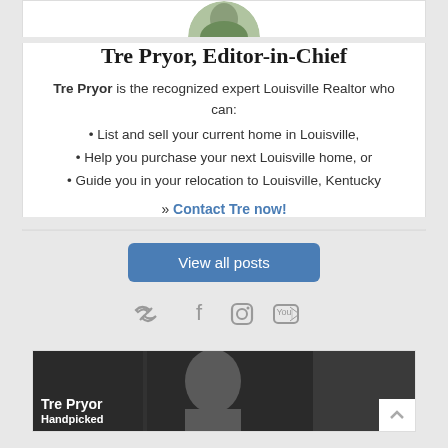[Figure (photo): Partial circular photo of Tre Pryor at top of card]
Tre Pryor, Editor-in-Chief
Tre Pryor is the recognized expert Louisville Realtor who can:
List and sell your current home in Louisville,
Help you purchase your next Louisville home, or
Guide you in your relocation to Louisville, Kentucky
» Contact Tre now!
View all posts
[Figure (photo): Photo of Tre Pryor with text overlay 'Tre Pryor Handpicked']